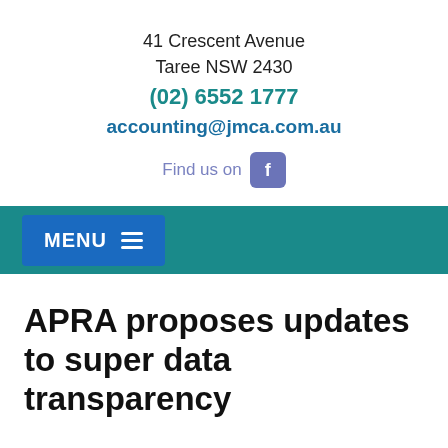41 Crescent Avenue
Taree NSW 2430
(02) 6552 1777
accounting@jmca.com.au
Find us on [Facebook]
MENU
APRA proposes updates to super data transparency